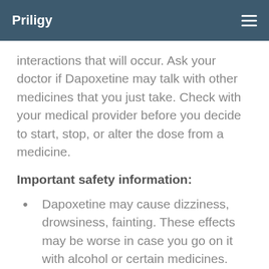Priligy
interactions that will occur. Ask your doctor if Dapoxetine may talk with other medicines that you just take. Check with your medical provider before you decide to start, stop, or alter the dose from a medicine.
Important safety information:
Dapoxetine may cause dizziness, drowsiness, fainting. These effects may be worse in case you go on it with alcohol or certain medicines. Use